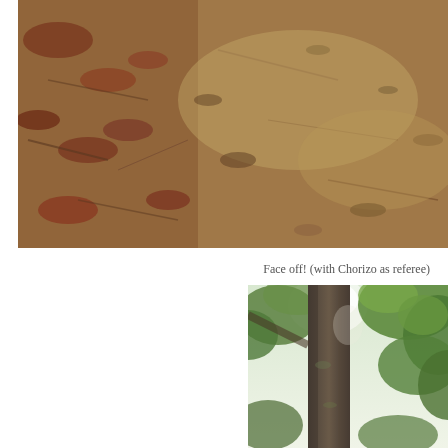[Figure (photo): Ground-level photo of a dirt forest floor with scattered dry leaves and twigs in brown and reddish tones]
Face off! (with Chorizo as referee)
[Figure (photo): Upward-looking photo of a large tree trunk with green foliage canopy in the background, bright sky visible through the leaves]